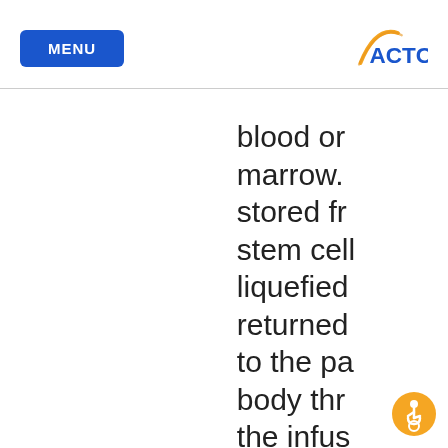MENU | ACTC
blood or marrow. stored from stem cell liquefied returned to the pa body thr the infus process.